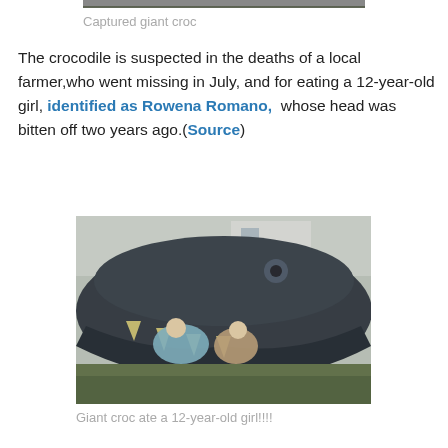[Figure (photo): Top portion of a photo of a captured giant crocodile, cropped at top of page]
Captured giant croc
The crocodile is suspected in the deaths of a local farmer,who went missing in July, and for eating a 12-year-old girl, identified as Rowena Romano,  whose head was bitten off two years ago.(Source)
[Figure (photo): Children posing inside the open mouth of a large crocodile statue or model outdoors]
Giant croc ate a 12-year-old girl!!!!